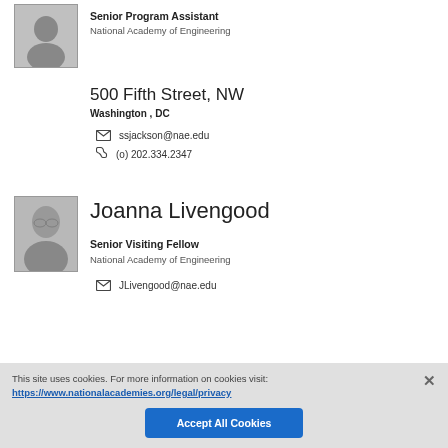[Figure (photo): Headshot photo of person (male) in gray/white shirt]
Senior Program Assistant
National Academy of Engineering
500 Fifth Street, NW
Washington , DC
ssjackson@nae.edu
(o) 202.334.2347
[Figure (photo): Headshot photo of Joanna Livengood, woman with white/blonde hair and glasses]
Joanna Livengood
Senior Visiting Fellow
National Academy of Engineering
JLivengood@nae.edu
This site uses cookies. For more information on cookies visit: https://www.nationalacademies.org/legal/privacy
Accept All Cookies